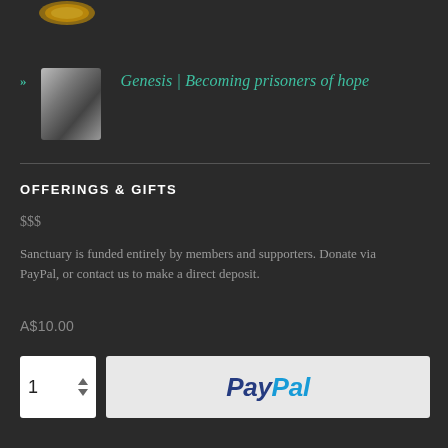[Figure (photo): Small circular coin/medal thumbnail at the top]
» Genesis | Becoming prisoners of hope
OFFERINGS & GIFTS
$$$
Sanctuary is funded entirely by members and supporters. Donate via PayPal, or contact us to make a direct deposit.
A$10.00
[Figure (screenshot): Quantity spinner showing 1 and up/down arrows, plus PayPal button]